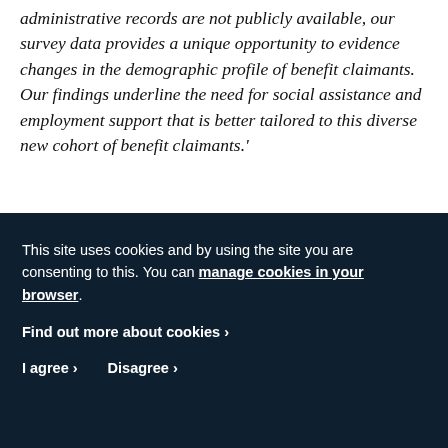administrative records are not publicly available, our survey data provides a unique opportunity to evidence changes in the demographic profile of benefit claimants. Our findings underline the need for social assistance and employment support that is better tailored to this diverse new cohort of benefit claimants.'
This site uses cookies and by using the site you are consenting to this. You can manage cookies in your browser.
Find out more about cookies ›
I agree › Disagree ›